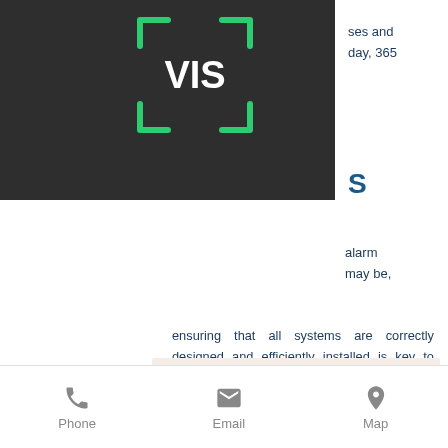[Figure (logo): VIS logo with green bracket corners and white bold text on dark background]
ses and
day, 365
S
alarm
may be,
ensuring that all systems are correctly designed and efficiently installed is key to maintaining high levels of safety. From initial design, supply and installation, through to ongoing maintenance and monitoring, we maintain the capability to help prevent, detect and monitor your fire and security risks.
[Figure (map): Partial map image with red highlighted area]
Phone
Email
Map